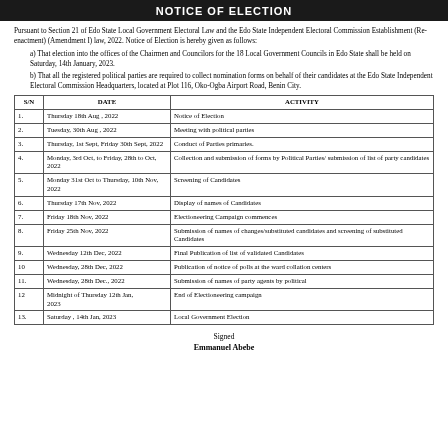NOTICE OF ELECTION
Pursuant to Section 21 of Edo State Local Government Electoral Law and the Edo State Independent Electoral Commission Establishment (Re-enactment) (Amendment I) law, 2022. Notice of Election is hereby given as follows:
a) That election into the offices of the Chairmen and Councilors for the 18 Local Government Councils in Edo State shall be held on Saturday, 14th January, 2023.
b) That all the registered political parties are required to collect nomination forms on behalf of their candidates at the Edo State Independent Electoral Commission Headquarters, located at Plot 116, Oko-Ogba Airport Road, Benin City.
| S/N | DATE | ACTIVITY |
| --- | --- | --- |
| 1. | Thursday 18th Aug , 2022 | Notice of Election |
| 2. | Tuesday, 30th Aug , 2022 | Meeting with political parties |
| 3. | Thursday, 1st Sept, Friday 30th Sept, 2022 | Conduct of Parties primaries. |
| 4. | Monday, 3rd Oct, to Friday, 28th to Oct, 2022 | Collection and submission of forms by Political Parties/ submission of list of party candidates |
| 5. | Monday 31st Oct to Thursday, 10th Nov, 2022 | Screening of Candidates |
| 6. | Thursday 17th Nov, 2022 | Display of names of Candidates |
| 7. | Friday 18th Nov, 2022 | Electioneering Campaign commences |
| 8. | Friday 25th Nov, 2022 | Submission of names of changes/substituted candidates and screening of substituted Candidates |
| 9. | Wednesday 12th Dec, 2022 | Final Publication of list of validated Candidates |
| 10 | Wednesday, 28th Dec, 2022 | Publication of notice of polls at the ward collation centers |
| 11. | Wednesday, 28th Dec., 2022 | Submission of names of party agents by political |
| 12 | Midnight of Thursday 12th Jan, 2023 | End of Electioneering campaign |
| 13. | Saturday , 14th Jan, 2023 | Local Government Election |
Signed
Emmanuel Abebe